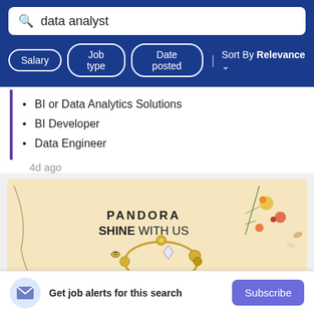data analyst
Salary
Job type
Date posted
Sort By Relevance
BI or Data Analytics Solutions
BI Developer
Data Engineer
4d ago
[Figure (photo): Pandora jewelry advertisement banner with text 'PANDORA SHINE WITH US' and golden charm bracelet on a light yellow background with flowers]
Get job alerts for this search